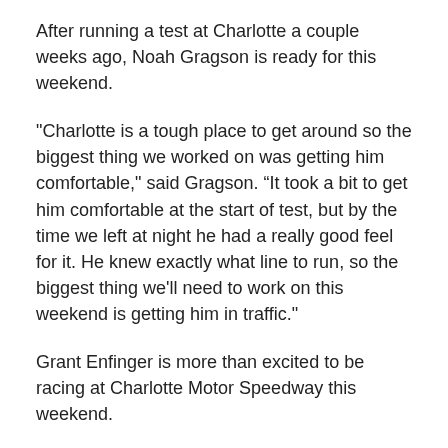After running a test at Charlotte a couple weeks ago, Noah Gragson is ready for this weekend.
"Charlotte is a tough place to get around so the biggest thing we worked on was getting him comfortable," said Gragson. “It took a bit to get him comfortable at the start of test, but by the time we left at night he had a really good feel for it. He knew exactly what line to run, so the biggest thing we'll need to work on this weekend is getting him in traffic."
Grant Enfinger is more than excited to be racing at Charlotte Motor Speedway this weekend.
"I'm definitely pumped about racing at Charlotte Motor